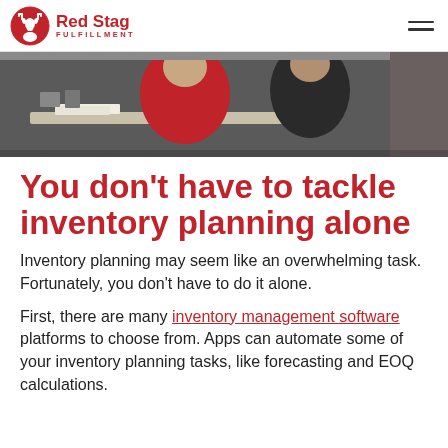Red Stag Fulfillment
[Figure (photo): Two people sitting at a desk, one wearing a red jacket, viewed from behind in a warehouse or office setting.]
You don't have to tackle inventory planning alone
Inventory planning may seem like an overwhelming task. Fortunately, you don't have to do it alone.
First, there are many inventory management software platforms to choose from. Apps can automate some of your inventory planning tasks, like forecasting and EOQ calculations.